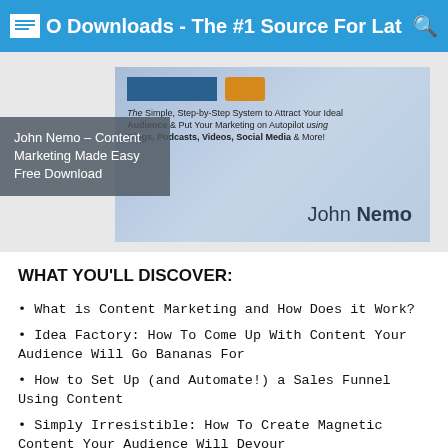WSO Downloads - The #1 Source For Lat
[Figure (illustration): Book cover image for John Nemo – Content Marketing Made Easy, showing a step-by-step system tagline and author name on a blue gradient background with orange and blue buttons at top]
John Nemo – Content Marketing Made Easy Free Download
WHAT YOU'LL DISCOVER:
• What is Content Marketing and How Does it Work?
• Idea Factory: How To Come Up With Content Your Audience Will Go Bananas For
• How to Set Up (and Automate!) a Sales Funnel Using Content
• Simply Irresistible: How To Create Magnetic Content Your Audience Will Devour